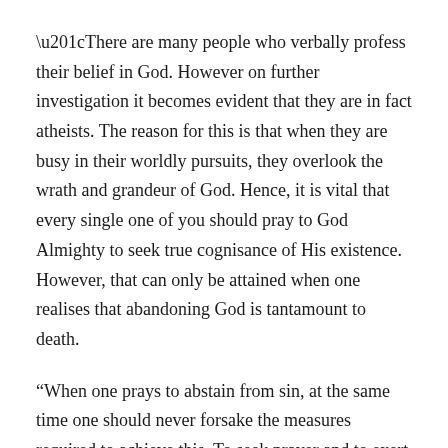“There are many people who verbally profess their belief in God. However on further investigation it becomes evident that they are in fact atheists. The reason for this is that when they are busy in their worldly pursuits, they overlook the wrath and grandeur of God. Hence, it is vital that every single one of you should pray to God Almighty to seek true cognisance of His existence. However, that can only be attained when one realises that abandoning God is tantamount to death.
“When one prays to abstain from sin, at the same time one should never forsake the measures required to achieve this. To seek prayer and to exert one’s own physical efforts are both essential. You should eschew every assembly and gathering that incites one to commit sin.”
Every one of you can assess for himself that which kind of